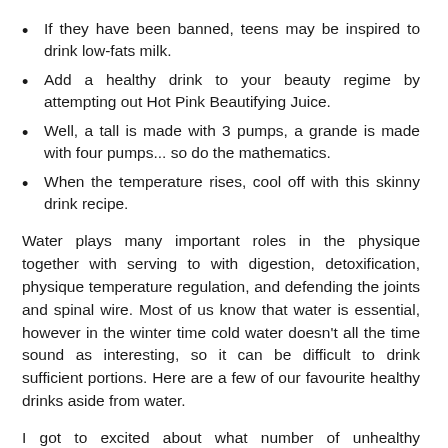If they have been banned, teens may be inspired to drink low-fats milk.
Add a healthy drink to your beauty regime by attempting out Hot Pink Beautifying Juice.
Well, a tall is made with 3 pumps, a grande is made with four pumps... so do the mathematics.
When the temperature rises, cool off with this skinny drink recipe.
Water plays many important roles in the physique together with serving to with digestion, detoxification, physique temperature regulation, and defending the joints and spinal wire. Most of us know that water is essential, however in the winter time cold water doesn’t all the time sound as interesting, so it can be difficult to drink sufficient portions. Here are a few of our favourite healthy drinks aside from water.
I got to excited about what number of unhealthy beverages there are on the market and needed to be sure